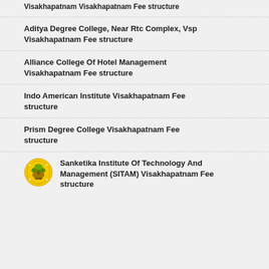Visakhapatnam Visakhapatnam Fee structure
Aditya Degree College, Near Rtc Complex, Vsp Visakhapatnam Fee structure
Alliance College Of Hotel Management Visakhapatnam Fee structure
Indo American Institute Visakhapatnam Fee structure
Prism Degree College Visakhapatnam Fee structure
Sanketika Institute Of Technology And Management (SITAM) Visakhapatnam Fee structure